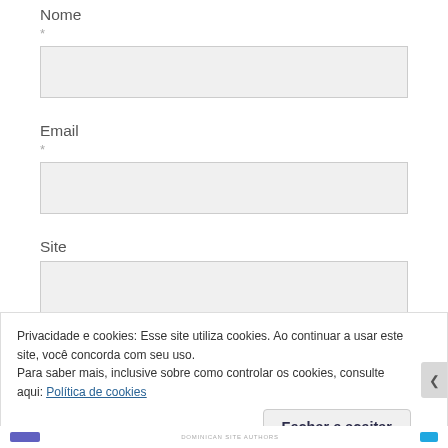Nome
*
Email
*
Site
Privacidade e cookies: Esse site utiliza cookies. Ao continuar a usar este site, você concorda com seu uso.
Para saber mais, inclusive sobre como controlar os cookies, consulte aqui: Política de cookies
Fechar e aceitar